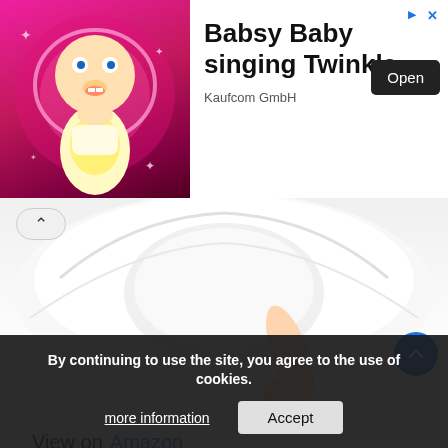[Figure (screenshot): Mobile app screenshot showing advertisement banner for 'Babsy Baby singing Twinkle' by Kaufcom GmbH with an Open button, and a product image of a white U-shaped pregnancy pillow with a baby's arm visible]
View on Amazon
The Meiz pregnancy pillow is the ultimate comfort for expecting mothers. This innovative U shaped pregnancy body pillow has a soft, adjustable and odourless 7d hollow fiber filling. It provides support from side sleeping and retains fluffiness for better resilience and longer use. The wrap-around conforms to your every move while you sleep or watch tv on the couch! Stay at home
By continuing to use the site, you agree to the use of cookies.
more information
Accept